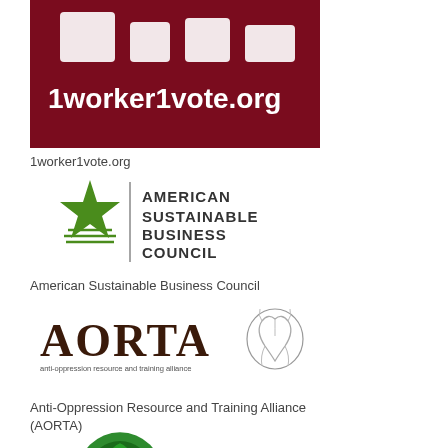[Figure (logo): 1worker1vote.org logo — dark red background with white building/icon graphic and white bold text '1worker1vote.org']
1worker1vote.org
[Figure (logo): American Sustainable Business Council logo — green star with horizontal wave lines and vertical bar, next to dark text reading 'American Sustainable Business Council' in small caps]
American Sustainable Business Council
[Figure (logo): AORTA logo — large dark serif text 'AORTA' with small text 'anti-oppression resource and training alliance' and an anatomical heart illustration]
Anti-Oppression Resource and Training Alliance (AORTA)
[Figure (logo): Green circular logo with stylized tree and figures, partially cropped at bottom of page]